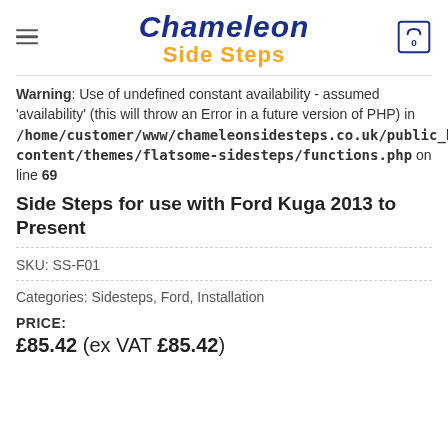Chameleon Side Steps
Warning: Use of undefined constant availability - assumed 'availability' (this will throw an Error in a future version of PHP) in /home/customer/www/chameleonsidesteps.co.uk/public_html/wp-content/themes/flatsome-sidesteps/functions.php on line 69
Side Steps for use with Ford Kuga 2013 to Present
SKU: SS-F01
Categories: Sidesteps, Ford, Installation
PRICE:
£85.42 (ex VAT £85.42)